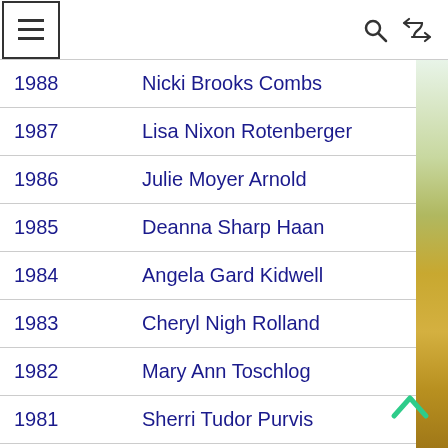Menu, Search, Shuffle navigation
| Year | Name |
| --- | --- |
| 1988 | Nicki Brooks Combs |
| 1987 | Lisa Nixon Rotenberger |
| 1986 | Julie Moyer Arnold |
| 1985 | Deanna Sharp Haan |
| 1984 | Angela Gard Kidwell |
| 1983 | Cheryl Nigh Rolland |
| 1982 | Mary Ann Toschlog |
| 1981 | Sherri Tudor Purvis |
| 1980 | Mary Anne Nocton |
| 1979 | Lisa Harris Naylor Moore |